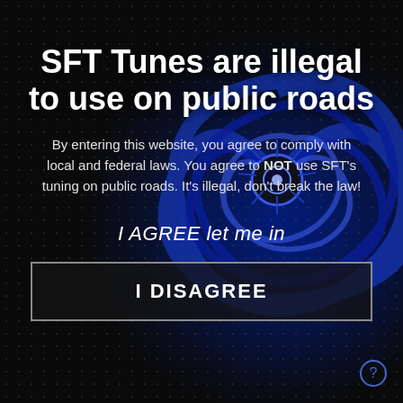SFT Tunes are illegal to use on public roads
By entering this website, you agree to comply with local and federal laws. You agree to NOT use SFT's tuning on public roads. It's illegal, don't break the law!
I AGREE let me in
I DISAGREE